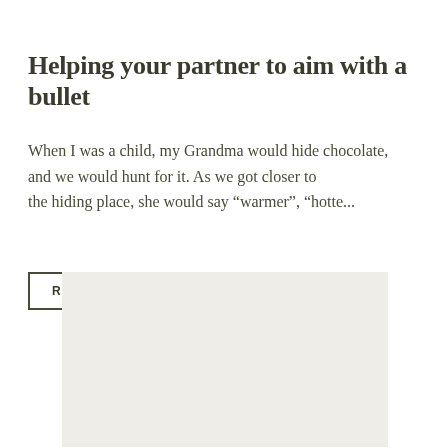Helping your partner to aim with a bullet
When I was a child, my Grandma would hide chocolate, and we would hunt for it. As we got closer to the hiding place, she would say “warmer”, “hotte...
READ MORE
[Figure (other): Light gray rectangular placeholder image block]